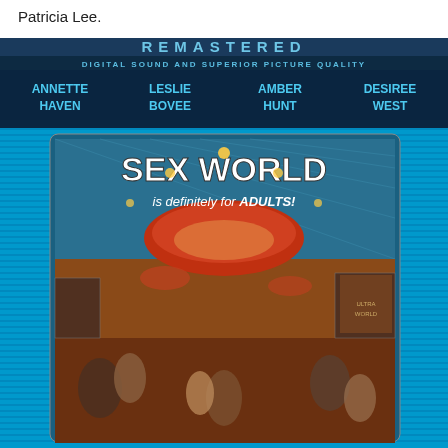Patricia Lee.
[Figure (photo): DVD cover for 'Sex World' - a remastered adult film. The cover shows 'REMASTERED' in large letters at the top, followed by 'DIGITAL SOUND AND SUPERIOR PICTURE QUALITY'. Cast names listed: Annette Haven, Leslie Bovee, Amber Hunt, Desiree West. Below is artwork showing 'SEX WORLD is definitely for ADULTS!' with illustrated scene inside a futuristic setting with multiple figures. The background has blue horizontal stripes.]